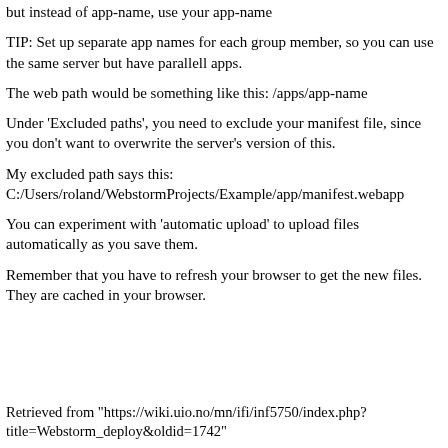but instead of app-name, use your app-name
TIP: Set up separate app names for each group member, so you can use the same server but have parallell apps.
The web path would be something like this: /apps/app-name
Under 'Excluded paths', you need to exclude your manifest file, since you don't want to overwrite the server's version of this.
My excluded path says this:
C:/Users/roland/WebstormProjects/Example/app/manifest.webapp
You can experiment with 'automatic upload' to upload files automatically as you save them.
Remember that you have to refresh your browser to get the new files. They are cached in your browser.
Retrieved from "https://wiki.uio.no/mn/ifi/inf5750/index.php?title=Webstorm_deploy&oldid=1742"